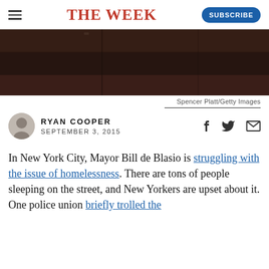THE WEEK
[Figure (photo): Dark brownish-red textured surface, possibly a brick or stone floor/wall, partially visible hero image for article]
Spencer Platt/Getty Images
RYAN COOPER
SEPTEMBER 3, 2015
In New York City, Mayor Bill de Blasio is struggling with the issue of homelessness. There are tons of people sleeping on the street, and New Yorkers are upset about it. One police union briefly trolled the